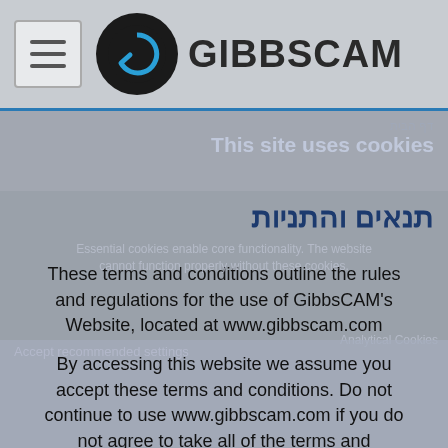GIBBSCAM
דף הבית
This site uses cookies
תנאים והתניות
Essential cookies enable core functionality. The website cannot function properly without these cookies.
These terms and conditions outline the rules and regulations for the use of GibbsCAM's Website, located at www.gibbscam.com
Analytical Cookies
Accept recommended settings
By accessing this website we assume you accept these terms and conditions. Do not continue to use www.gibbscam.com if you do not agree to take all of the terms and conditions stated on this page.